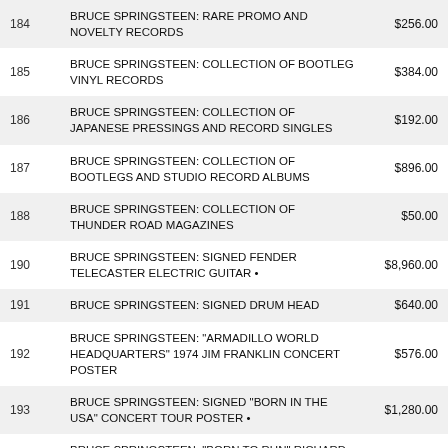| Lot | Description | Price |
| --- | --- | --- |
| 184 | BRUCE SPRINGSTEEN: RARE PROMO AND NOVELTY RECORDS | $256.00 |
| 185 | BRUCE SPRINGSTEEN: COLLECTION OF BOOTLEG VINYL RECORDS | $384.00 |
| 186 | BRUCE SPRINGSTEEN: COLLECTION OF JAPANESE PRESSINGS AND RECORD SINGLES | $192.00 |
| 187 | BRUCE SPRINGSTEEN: COLLECTION OF BOOTLEGS AND STUDIO RECORD ALBUMS | $896.00 |
| 188 | BRUCE SPRINGSTEEN: COLLECTION OF THUNDER ROAD MAGAZINES | $50.00 |
| 190 | BRUCE SPRINGSTEEN: SIGNED FENDER TELECASTER ELECTRIC GUITAR • | $8,960.00 |
| 191 | BRUCE SPRINGSTEEN: SIGNED DRUM HEAD | $640.00 |
| 192 | BRUCE SPRINGSTEEN: "ARMADILLO WORLD HEADQUARTERS" 1974 JIM FRANKLIN CONCERT POSTER | $576.00 |
| 193 | BRUCE SPRINGSTEEN: SIGNED "BORN IN THE USA" CONCERT TOUR POSTER • | $1,280.00 |
| 194 | BRUCE SPRINGSTEEN: "BORN TO RUN" RICHARD AARON CONCERT PHOTOGRAPH | $320.00 |